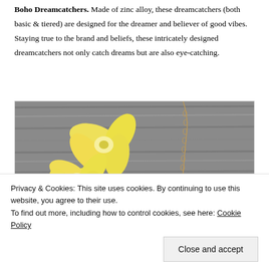Boho Dreamcatchers. Made of zinc alloy, these dreamcatchers (both basic & tiered) are designed for the dreamer and believer of good vibes. Staying true to the brand and beliefs, these intricately designed dreamcatchers not only catch dreams but are also eye-catching.
[Figure (photo): A yellow frangipani flower resting on weathered grey wood, next to a gold chain necklace with a small dreamcatcher pendant.]
Privacy & Cookies: This site uses cookies. By continuing to use this website, you agree to their use. To find out more, including how to control cookies, see here: Cookie Policy
Rainbow Quartz Dreamcatcher. A combination of